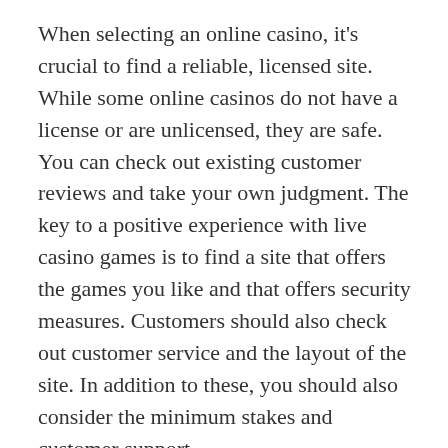When selecting an online casino, it's crucial to find a reliable, licensed site. While some online casinos do not have a license or are unlicensed, they are safe. You can check out existing customer reviews and take your own judgment. The key to a positive experience with live casino games is to find a site that offers the games you like and that offers security measures. Customers should also check out customer service and the layout of the site. In addition to these, you should also consider the minimum stakes and customer support.
Another key to successful live casino online gaming is choosing a site with a good operator. A good casino will optimize their site to suit the screen size of mobile devices and make it as user-friendly as possible. The graphics of live casino games may be compressed to fit smaller screens. This is important for players who